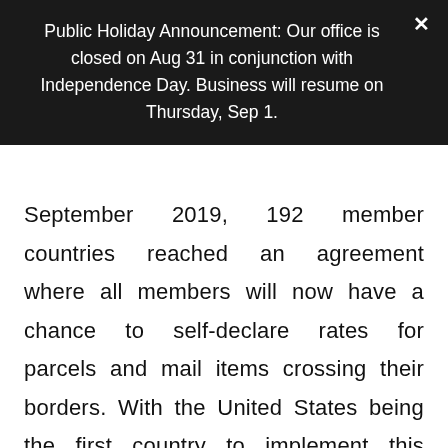Public Holiday Announcement: Our office is closed on Aug 31 in conjunction with Independence Day. Business will resume on Thursday, Sep 1.
September 2019, 192 member countries reached an agreement where all members will now have a chance to self-declare rates for parcels and mail items crossing their borders. With the United States being the first country to implement this change, please expect a new set of rates to be introduced by the United States Postal Service (USPS), effective 29th June 2020. Given the inevitability of the fee revisions, Flickpost would